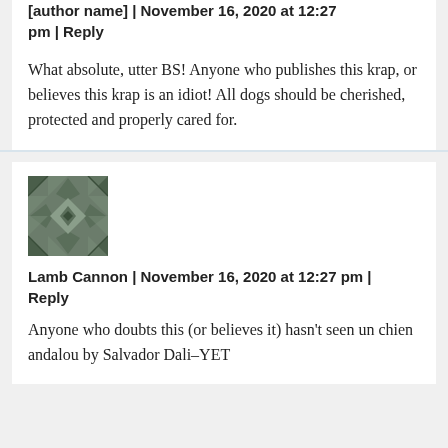[author name] | November 16, 2020 at 12:27 pm | Reply
What absolute, utter BS! Anyone who publishes this krap, or believes this krap is an idiot! All dogs should be cherished, protected and properly cared for.
[Figure (illustration): Avatar icon: a geometric mosaic pattern in dark green/grey colors forming a symmetrical diamond and arrow design]
Lamb Cannon | November 16, 2020 at 12:27 pm | Reply
Anyone who doubts this (or believes it) hasn't seen un chien andalou by Salvador Dali–YET